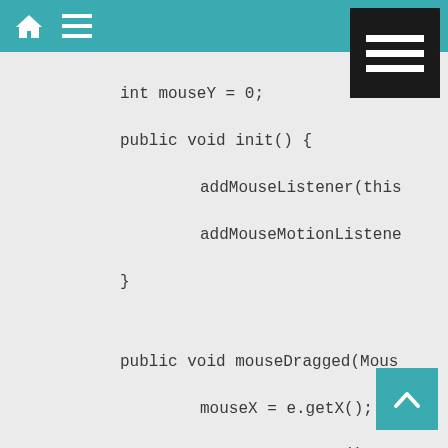Navigation bar with home and menu icons
[Figure (screenshot): Black menu overlay box in top-right corner with three white horizontal lines]
int mouseY = 0;
public void init() {
    addMouseListener(this
    addMouseMotionListene
}
public void mouseDragged(Mous
    mouseX = e.getX();
    mouseY = e.getY();
    msg = "*";
    showStatus("Dragging (
    repaint();
}
public void mouseMoved(MouseE
    showStatus("Moving mo
}
public void mouseClicked( s
    mouseX = 0;
    mouseX = 10;
[Figure (screenshot): Teal scroll-to-top button with upward chevron in bottom-right corner]